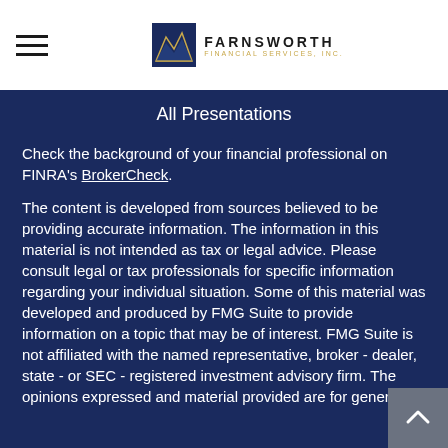[Figure (logo): Farnsworth Financial Services, Inc. logo with mountain graphic and golden text]
All Presentations
Check the background of your financial professional on FINRA's BrokerCheck.
The content is developed from sources believed to be providing accurate information. The information in this material is not intended as tax or legal advice. Please consult legal or tax professionals for specific information regarding your individual situation. Some of this material was developed and produced by FMG Suite to provide information on a topic that may be of interest. FMG Suite is not affiliated with the named representative, broker - dealer, state - or SEC - registered investment advisory firm. The opinions expressed and material provided are for general